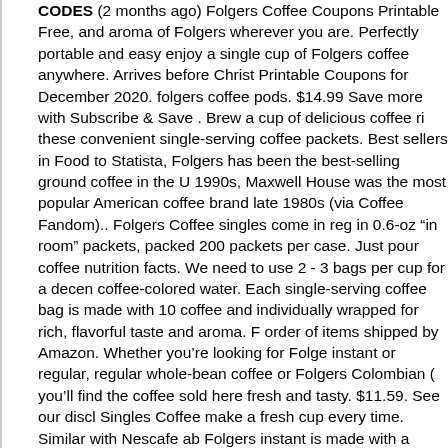CODES (2 months ago) Folgers Coffee Coupons Printable Free, and aroma of Folgers wherever you are. Perfectly portable and easy enjoy a single cup of Folgers coffee anywhere. Arrives before Christ Printable Coupons for December 2020. folgers coffee pods. $14.99 Save more with Subscribe & Save . Brew a cup of delicious coffee ri these convenient single-serving coffee packets. Best sellers in Food to Statista, Folgers has been the best-selling ground coffee in the U 1990s, Maxwell House was the most popular American coffee brand late 1980s (via Coffee Fandom).. Folgers Coffee singles come in reg in 0.6-oz "in room" packets, packed 200 packets per case. Just pour coffee nutrition facts. We need to use 2 - 3 bags per cup for a decen coffee-colored water. Each single-serving coffee bag is made with 10 coffee and individually wrapped for rich, flavorful taste and aroma. F order of items shipped by Amazon. Whether you're looking for Folge instant or regular, regular whole-bean coffee or Folgers Colombian ( you'll find the coffee sold here fresh and tasty. $11.59. See our discl Singles Coffee make a fresh cup every time. Similar with Nescafe ab Folgers instant is made with a common blend of Robusta and Arabic information on the percentage or exact amount of the blend. Starting coffee can help you stay fresh and active all day long. CODES (1 da sweet, earthy smell of coffee everyday with these coupons for Folge